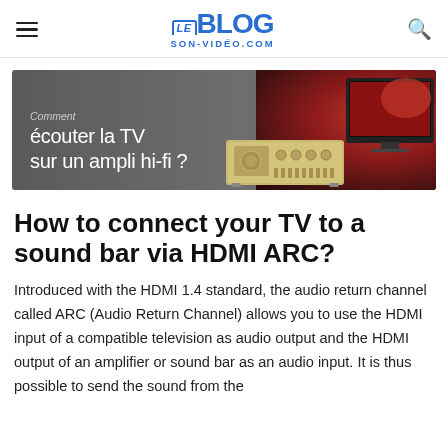Le Blog Son-Vidéo.com
[Figure (photo): Banner image with text 'Comment écouter la TV sur un ampli hi-fi?' overlaid on a dark background showing a hi-fi amplifier and a TV with red floral display]
How to connect your TV to a sound bar via HDMI ARC?
Introduced with the HDMI 1.4 standard, the audio return channel called ARC (Audio Return Channel) allows you to use the HDMI input of a compatible television as audio output and the HDMI output of an amplifier or sound bar as an audio input. It is thus possible to send the sound from the